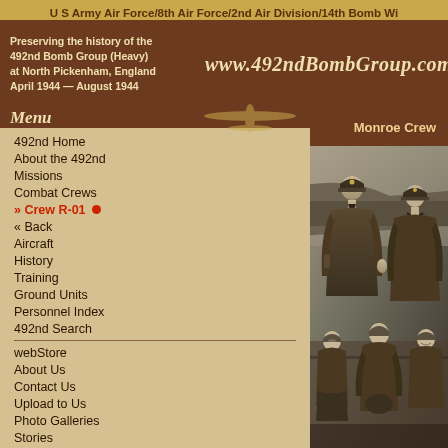U S Army Air Force/8th Air Force/2nd Air Division/14th Bomb Wi
Preserving the history of the 492nd Bomb Group (Heavy) at North Pickenham, England April 1944 — August 1944
www.492ndBombGroup.com
Menu
Monroe Crew
492nd Home
About the 492nd
Missions
Combat Crews
» Crew R-01
« Back
Aircraft
History
Training
Ground Units
Personnel Index
492nd Search
webStore
About Us
Contact Us
Upload to Us
Photo Galleries
Stories
North Pickenham
492nd BG Assoc.
» Reunion Info
» Folded Wings
» Still Flying
[Figure (photo): Black and white photograph of Monroe Crew, showing military airmen in leather flight jackets and officer caps posed in front of an aircraft. Several men standing in back row and several seated/kneeling in front row.]